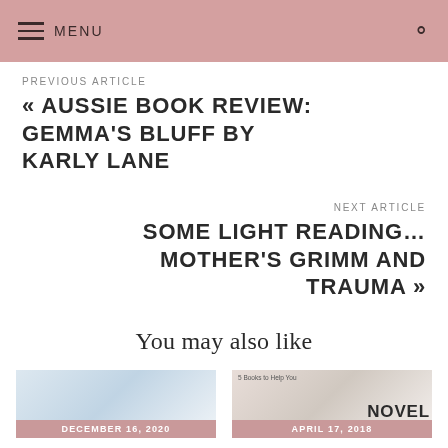MENU
PREVIOUS ARTICLE
« AUSSIE BOOK REVIEW: GEMMA'S BLUFF BY KARLY LANE
NEXT ARTICLE
SOME LIGHT READING… MOTHER'S GRIMM AND TRAUMA »
You may also like
DECEMBER 16, 2020
APRIL 17, 2018